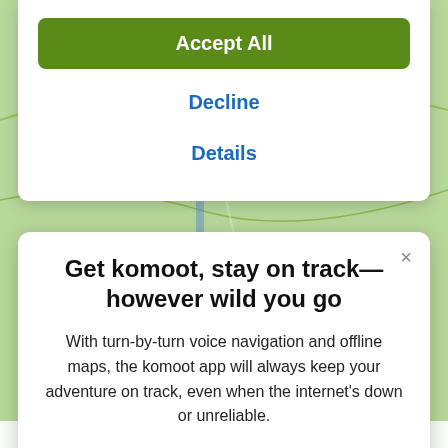[Figure (screenshot): Background map view showing a green topographic/street map]
Accept All
Decline
Details
Get komoot, stay on track—however wild you go
With turn-by-turn voice navigation and offline maps, the komoot app will always keep your adventure on track, even when the internet's down or unreliable.
[Figure (logo): Download on the App Store button (black rounded rectangle with Apple logo)]
intermediate run. Good fitness required. Mostly